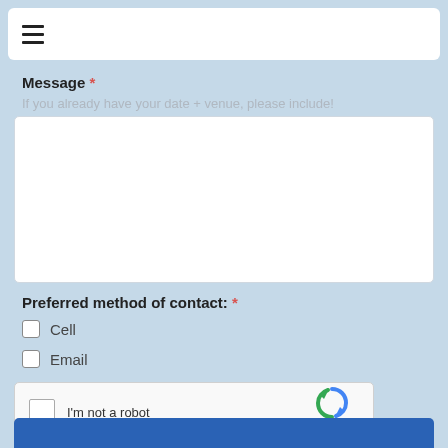[Figure (other): Navigation bar with hamburger menu icon]
Message *
If you already have your date + venue, please include!
[Figure (other): Empty message text area input field]
Preferred method of contact: *
Cell
Email
[Figure (other): reCAPTCHA widget with checkbox and I'm not a robot text]
[Figure (other): Submit button (blue)]